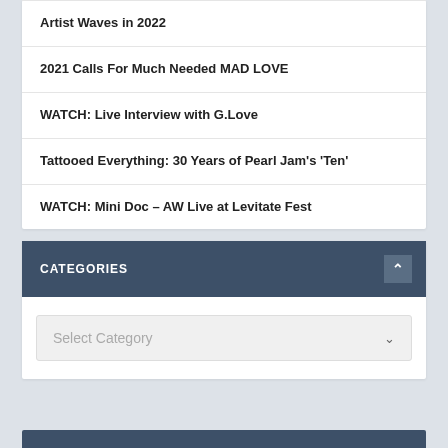Artist Waves in 2022
2021 Calls For Much Needed MAD LOVE
WATCH: Live Interview with G.Love
Tattooed Everything: 30 Years of Pearl Jam's 'Ten'
WATCH: Mini Doc – AW Live at Levitate Fest
CATEGORIES
Select Category